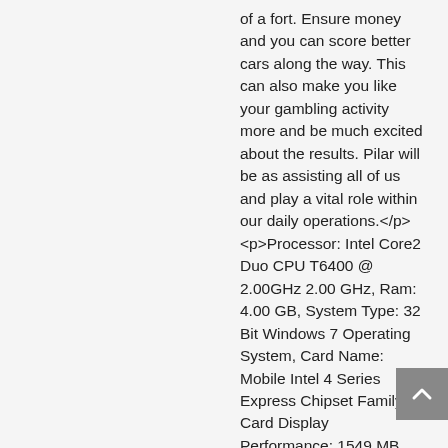of a fort. Ensure money and you can score better cars along the way. This can also make you like your gambling activity more and be much excited about the results. Pilar will be as assisting all of us and play a vital role within our daily operations.</p> <p>Processor: Intel Core2 Duo CPU T6400 @ 2.00GHz 2.00 GHz, Ram: 4.00 GB, System Type: 32 Bit Windows 7 Operating System, Card Name: Mobile Intel 4 Series Express Chipset Family, Card Display Performance: 1549 MB. For those using a more obscure os, you will have to investigate on a casebycase basis. Did I view the advancement in my own, but more and all these kids in my classes were greeting me using 'Coach Taylor look at exactly what I can do' or 'Coach Taylor I've been working on this move. Leading classes supposed higher expectations. ' His father and I smile, and I